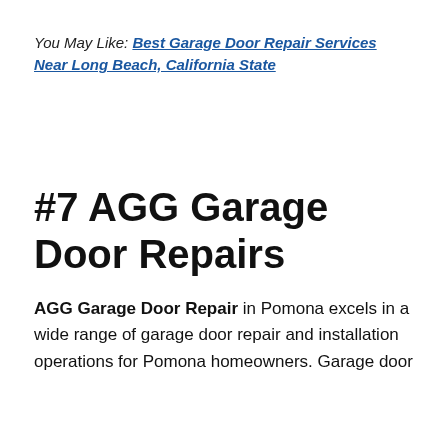You May Like: Best Garage Door Repair Services Near Long Beach, California State
#7 AGG Garage Door Repairs
AGG Garage Door Repair in Pomona excels in a wide range of garage door repair and installation operations for Pomona homeowners. Garage door